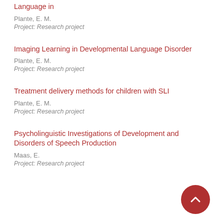Language in
Plante, E. M.
Project: Research project
Imaging Learning in Developmental Language Disorder
Plante, E. M.
Project: Research project
Treatment delivery methods for children with SLI
Plante, E. M.
Project: Research project
Psycholinguistic Investigations of Development and Disorders of Speech Production
Maas, E.
Project: Research project